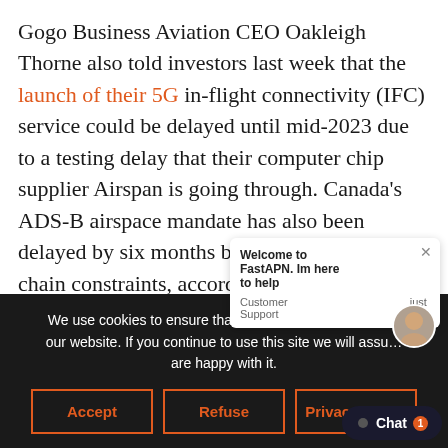Gogo Business Aviation CEO Oakleigh Thorne also told investors last week that the launch of their 5G in-flight connectivity (IFC) service could be delayed until mid-2023 due to a testing delay that their computer chip supplier Airspan is going through. Canada's ADS-B airspace mandate has also been delayed by six months because of supply chain constraints, according to their Aug. 2 announcement. AEA President and CEO Mike Adamson said the avionics sales increase reported for the first
We use cookies to ensure that we give you the best experience on our website. If you continue to use this site we will assume that you are happy with it.
[Figure (screenshot): Cookie consent banner with Accept, Refuse, and Privacy Policy buttons on dark background, overlaid with a chat widget popup showing Welcome to FastAPN message and a Chat button.]